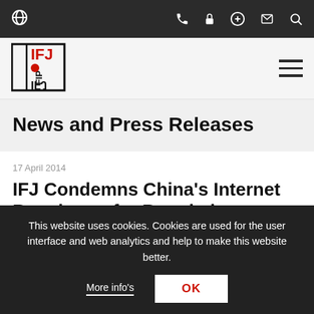Navigation bar with globe icon and phone, lock, plus, mail, search icons
[Figure (logo): IFJ FIP logo in black and red]
News and Press Releases
17 April 2014
IFJ Condemns China’s Internet Regulators for Restricting Freedom of Opinion
This website uses cookies. Cookies are used for the user interface and web analytics and help to make this website better.
More info's    OK